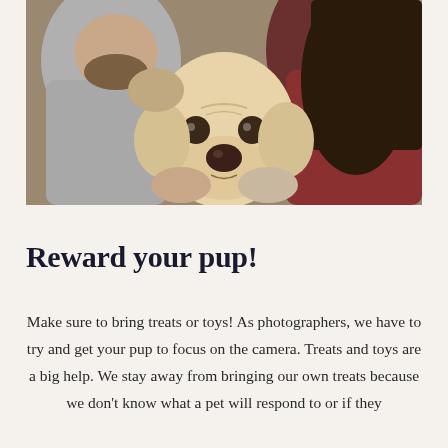[Figure (photo): A man and a woman kissing a yellow Labrador Retriever dog from both sides. The man is on the left wearing a grey sweater, the woman is on the right with long dark hair wearing a red top. The dog faces forward looking slightly worried.]
Reward your pup!
Make sure to bring treats or toys! As photographers, we have to try and get your pup to focus on the camera. Treats and toys are a big help. We stay away from bringing our own treats because we don't know what a pet will respond to or if they